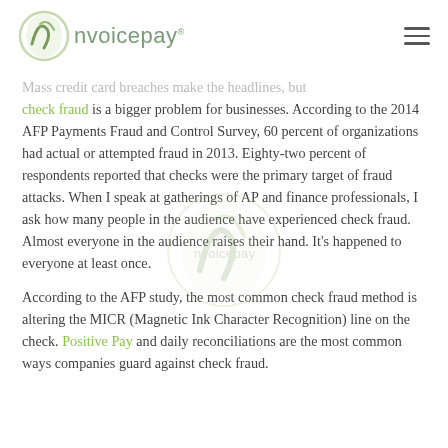nvoicepay
Mass credit card breaches make the headlines, but check fraud is a bigger problem for businesses. According to the 2014 AFP Payments Fraud and Control Survey, 60 percent of organizations had actual or attempted fraud in 2013. Eighty-two percent of respondents reported that checks were the primary target of fraud attacks. When I speak at gatherings of AP and finance professionals, I ask how many people in the audience have experienced check fraud. Almost everyone in the audience raises their hand. It's happened to everyone at least once.
According to the AFP study, the most common check fraud method is altering the MICR (Magnetic Ink Character Recognition) line on the check. Positive Pay and daily reconciliations are the most common ways companies guard against check fraud.